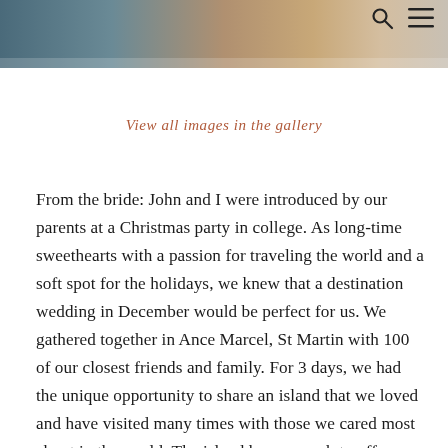[Figure (photo): Partial wedding photo at top of page showing bride and groom in muted tones]
🔍 ≡
View all images in the gallery
From the bride: John and I were introduced by our parents at a Christmas party in college. As long-time sweethearts with a passion for traveling the world and a soft spot for the holidays, we knew that a destination wedding in December would be perfect for us. We gathered together in Ance Marcel, St Martin with 100 of our closest friends and family. For 3 days, we had the unique opportunity to share an island that we loved and have visited many times with those we cared most about in the world. The island has so much to offer.